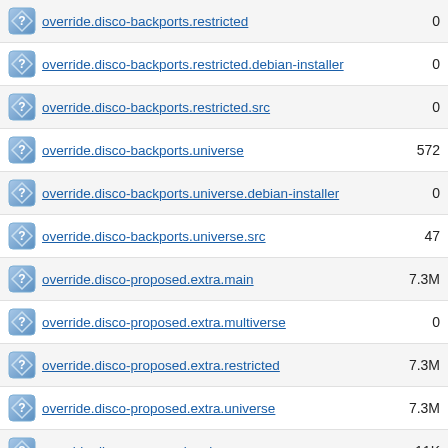override.disco-backports.restricted  0
override.disco-backports.restricted.debian-installer  0
override.disco-backports.restricted.src  0
override.disco-backports.universe  572
override.disco-backports.universe.debian-installer  0
override.disco-backports.universe.src  47
override.disco-proposed.extra.main  7.3M
override.disco-proposed.extra.multiverse  0
override.disco-proposed.extra.restricted  7.3M
override.disco-proposed.extra.universe  7.3M
override.disco-proposed.main  11K
override.disco-proposed.main.debian-installer  3.7K
override.disco-proposed.main.src  604
override.disco-proposed.multiverse  0